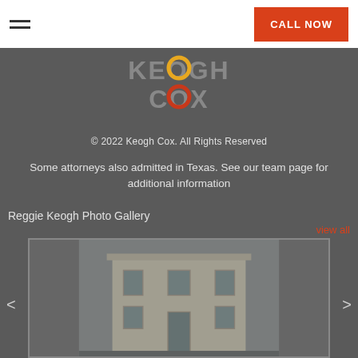CALL NOW
[Figure (logo): Keogh Cox law firm logo with stylized lettering and colored ring elements (yellow/orange/red)]
© 2022 Keogh Cox. All Rights Reserved
Some attorneys also admitted in Texas. See our team page for additional information
Reggie Keogh Photo Gallery
view all
[Figure (photo): Photograph of a multi-story white/cream colored building with classical architectural details, shown from street level]